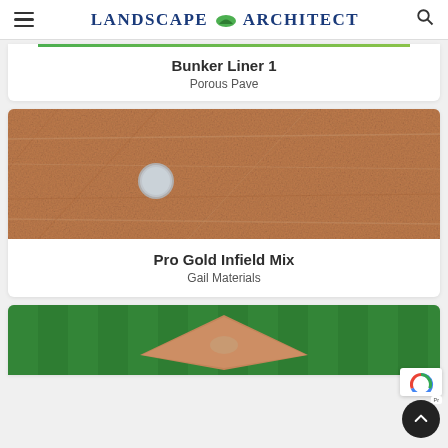Landscape Architect
Bunker Liner 1
Porous Pave
[Figure (photo): Close-up photo of reddish-brown sandy infield mix material with a small round white object (possibly a coin) on the surface.]
Pro Gold Infield Mix
Gail Materials
[Figure (photo): Aerial view of a baseball diamond with green grass infield and outfield, sandy infield dirt area.]